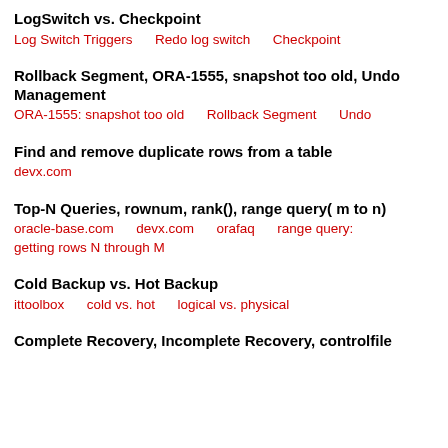LogSwitch vs. Checkpoint
Log Switch Triggers    Redo log switch    Checkpoint
Rollback Segment, ORA-1555, snapshot too old, Undo Management
ORA-1555: snapshot too old    Rollback Segment    Undo
Find and remove duplicate rows from a table
devx.com
Top-N Queries, rownum, rank(), range query( m to n)
oracle-base.com    devx.com    orafaq    range query: getting rows N through M
Cold Backup vs. Hot Backup
ittoolbox    cold vs. hot    logical vs. physical
Complete Recovery, Incomplete Recovery, controlfile